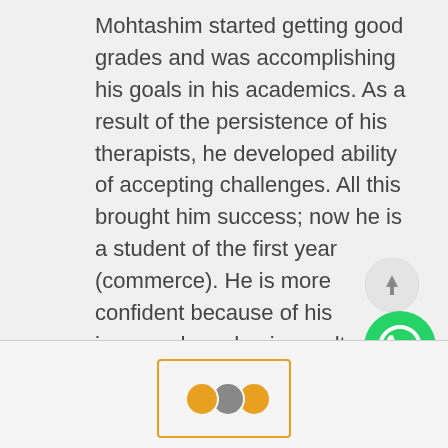Mohtashim started getting good grades and was accomplishing his goals in his academics. As a result of the persistence of his therapists, he developed ability of accepting challenges. All this brought him success; now he is a student of the first year (commerce). He is more confident because of his improved academic results. His developing skills show that he is going to go places.
[Figure (other): UI overlay elements: a circular scroll-to-top button (grey) with an upward arrow, and a circular WhatsApp button (green) with the WhatsApp phone icon, positioned in the bottom-right area]
[Figure (other): Bottom bar with a small image box outlined in orange containing three avatar circles (orange, grey, orange) partially visible]